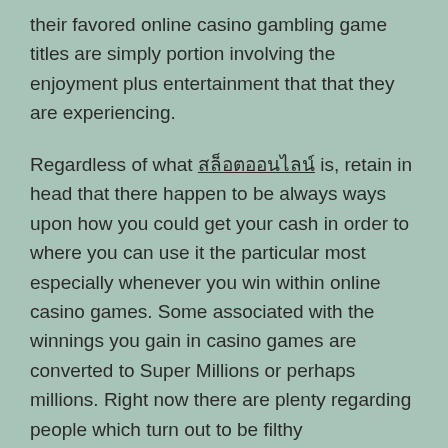their favored online casino gambling game titles are simply portion involving the enjoyment plus entertainment that that they are experiencing.

Regardless of what สล็อตออนไลน์ is, retain in head that there happen to be always ways upon how you could get your cash in order to where you can use it the particular most especially whenever you win within online casino games. Some associated with the winnings you gain in casino games are converted to Super Millions or perhaps millions. Right now there are plenty regarding people which turn out to be filthy